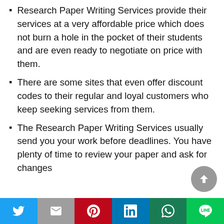Research Paper Writing Services provide their services at a very affordable price which does not burn a hole in the pocket of their students and are even ready to negotiate on price with them.
There are some sites that even offer discount codes to their regular and loyal customers who keep seeking services from them.
The Research Paper Writing Services usually send you your work before deadlines. You have plenty of time to review your paper and ask for changes